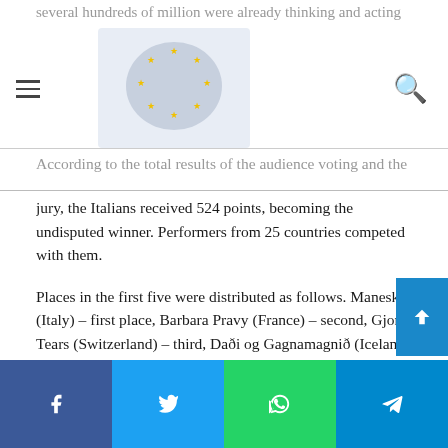several hundreds of million were already thinking and acting in accordance.
According to the total results of the audience voting and the jury, the Italians received 524 points, becoming the undisputed winner. Performers from 25 countries competed with them.
Places in the first five were distributed as follows. Maneskin (Italy) – first place, Barbara Pravy (France) – second, Gjon's Tears (Switzerland) – third, Daði og Gagnamagnið (Iceland) – fourth, Go_A (Ukraine) – fifth. They are followed by Blind Channel (Finland), Destiny (Malta), The Roop (Lithuania), Manizha (Russia), Stefania (Greece). The German Jendrik took the penultimate, 25th place in the overall standings.
Manizha scored 204 points. Maximum 12 points. Russia from…
Facebook | Twitter | WhatsApp | Telegram